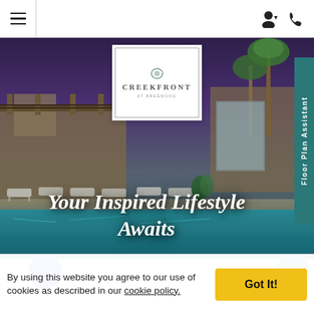Navigation bar with hamburger menu, user icon, and phone icon
[Figure (photo): Outdoor apartment complex pool area with lounge chairs, pergola, palm trees, and buildings at dusk/night with purple-toned sky. Creekfront at Breemond logo overlaid in center top.]
Your Inspired Lifestyle Awaits
[Figure (other): Floor Plan Assistant vertical sidebar tab on right side]
By using this website you agree to our use of cookies as described in our cookie policy.